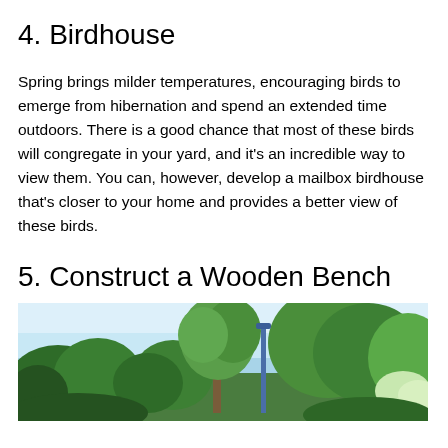4. Birdhouse
Spring brings milder temperatures, encouraging birds to emerge from hibernation and spend an extended time outdoors. There is a good chance that most of these birds will congregate in your yard, and it’s an incredible way to view them. You can, however, develop a mailbox birdhouse that’s closer to your home and provides a better view of these birds.
5. Construct a Wooden Bench
[Figure (photo): Outdoor garden/park scene with green trees, blue sky, and a lamp post visible among lush green vegetation.]